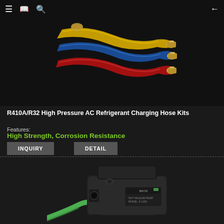Navigation bar with menu, book, search icons and back arrow
[Figure (photo): R410A/R32 High Pressure AC Refrigerant Charging Hose Kits — coiled blue, red, and yellow hoses with brass fittings on dark background]
R410A/R32 High Pressure AC Refrigerant Charging Hose Kits
Features:
High Strength, Corrosion Resistance
INQUIRY
DETAIL
[Figure (photo): Vacuum pump device (BKOS model) shown on dark background, partially cropped]